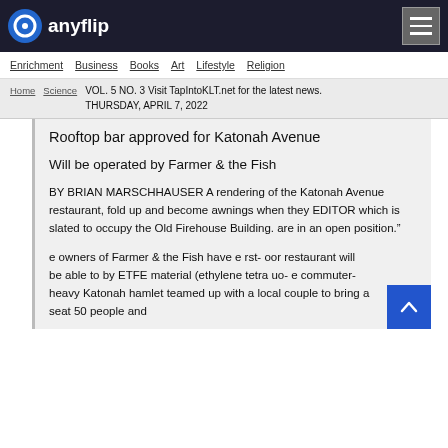anyflip
Enrichment  Business  Books  Art  Lifestyle  Religion
Home  Science
VOL. 5 NO. 3 Visit TapIntoKLT.net for the latest news.
THURSDAY, APRIL 7, 2022
Rooftop bar approved for Katonah Avenue
Will be operated by Farmer & the Fish
BY BRIAN MARSCHHAUSER A rendering of the Katonah Avenue restaurant, fold up and become awnings when they EDITOR which is slated to occupy the Old Firehouse Building. are in an open position.”
e owners of Farmer & the Fish have e rst- oor restaurant will be able to by ETFE material (ethylene tetra uo- e commuter-heavy Katonah hamlet teamed up with a local couple to bring a seat 50 people and